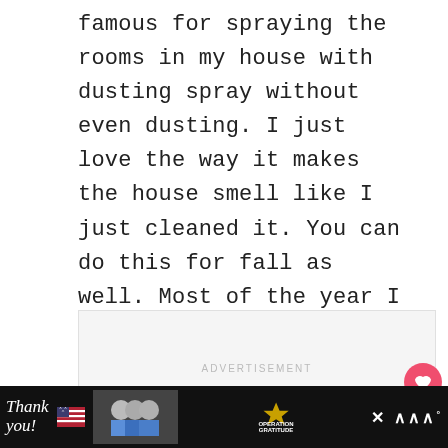famous for spraying the rooms in my house with dusting spray without even dusting. I just love the way it makes the house smell like I just cleaned it. You can do this for fall as well. Most of the year I use the lemon-scented spray, but for fall, I prefer the Orange-Scented Pledge found HERE.
[Figure (other): Advertisement placeholder box with 'ADVERTISEMENT' label and three gray dots indicating loading carousel]
[Figure (other): Pink heart (like/favorite) button on the right side]
[Figure (other): Share button with count '3' on dark navy background]
[Figure (photo): Bottom banner advertisement for Operation Gratitude showing 'Thank you!' text with American flag motif, photo of people with masks holding cards, Operation Gratitude logo with star, and close button]